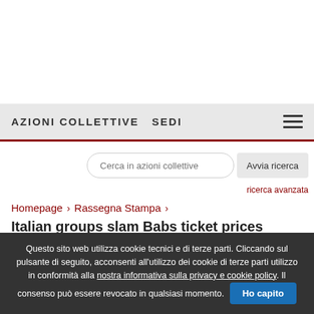AZIONI COLLETTIVE  SEDI
Cerca in azioni collettive
Avvia ricerca
ricerca avanzata
Homepage > Rassegna Stampa >
Italian groups slam Babs ticket prices
Questo sito web utilizza cookie tecnici e di terze parti. Cliccando sul pulsante di seguito, acconsenti all'utilizzo dei cookie di terze parti utilizzo in conformità alla nostra informativa sulla privacy e cookie policy. Il consenso può essere revocato in qualsiasi momento. Ho capito